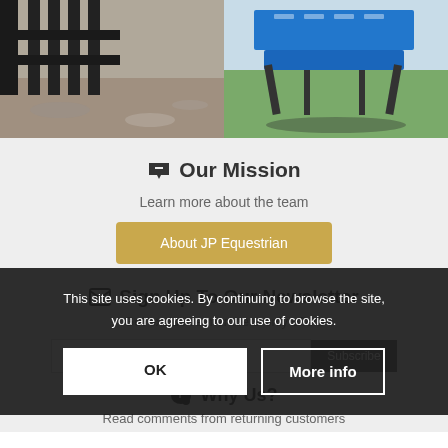[Figure (photo): Two photos side by side: left shows a dark metal fence/gate on gravel ground, right shows blue equipment/structure on green grass with shadows]
Our Mission
Learn more about the team
About JP Equestrian
Sign Up To Our Newsletter
Get exclusive members-only offers
Your email address...
Subscribe
This site uses cookies. By continuing to browse the site, you are agreeing to our use of cookies.
OK
More info
Why Us?
Read comments from returning customers